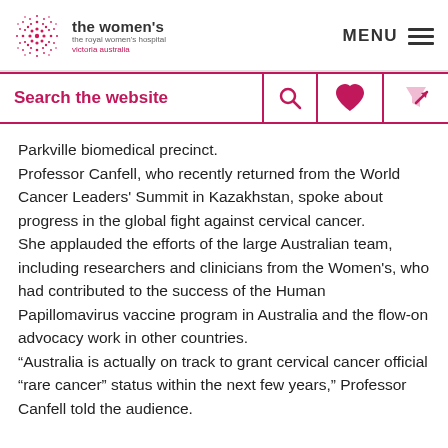the women's the royal women's hospital victoria australia | MENU
Search the website
Parkville biomedical precinct.
Professor Canfell, who recently returned from the World Cancer Leaders' Summit in Kazakhstan, spoke about progress in the global fight against cervical cancer.
She applauded the efforts of the large Australian team, including researchers and clinicians from the Women's, who had contributed to the success of the Human Papillomavirus vaccine program in Australia and the flow-on advocacy work in other countries.
“Australia is actually on track to grant cervical cancer official “rare cancer” status within the next few years,” Professor Canfell told the audience.